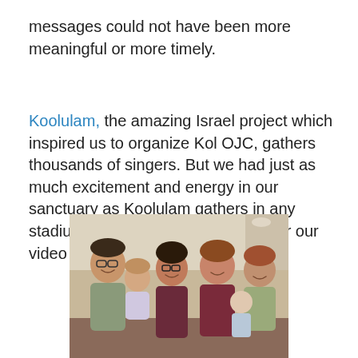messages could not have been more meaningful or more timely.
Koolulam, the amazing Israel project which inspired us to organize Kol OJC, gathers thousands of singers. But we had just as much excitement and energy in our sanctuary as Koolulam gathers in any stadium throughout Israel. (Watch for our video around Chanukah time!)
[Figure (photo): Group photo of a family or group of people (adults and children) smiling in what appears to be a synagogue or community hall setting.]